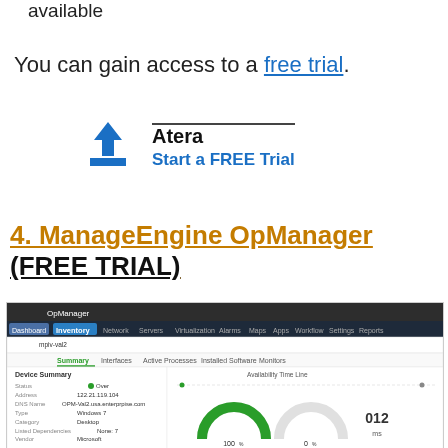available
You can gain access to a free trial.
[Figure (other): Atera download/free trial button graphic with blue download arrow icon and text 'Atera' and 'Start a FREE Trial']
4. ManageEngine OpManager (FREE TRIAL)
[Figure (screenshot): Screenshot of ManageEngine OpManager dashboard showing inventory device summary with availability timeline, gauges showing 100%, 0%, and 012ms metrics]